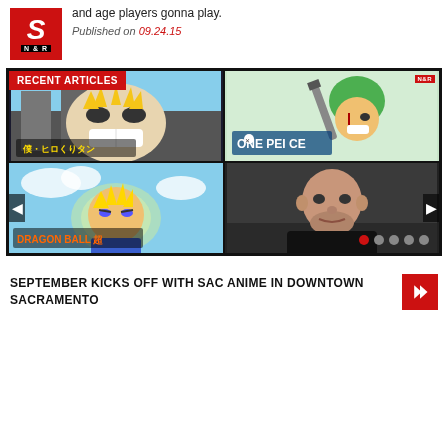and age players gonna play.
Published on 09.24.15
[Figure (screenshot): A 2x2 grid slideshow of anime/media thumbnails labeled RECENT ARTICLES, showing My Hero Academia, One Piece (Zoro), Dragon Ball Super, and a man in a black shirt. Navigation arrows and dots visible.]
SEPTEMBER KICKS OFF WITH SAC ANIME IN DOWNTOWN SACRAMENTO